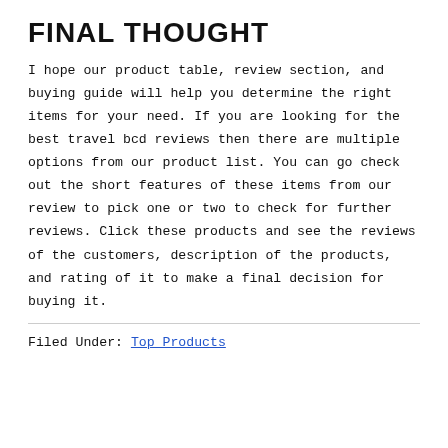FINAL THOUGHT
I hope our product table, review section, and buying guide will help you determine the right items for your need. If you are looking for the best travel bcd reviews then there are multiple options from our product list. You can go check out the short features of these items from our review to pick one or two to check for further reviews. Click these products and see the reviews of the customers, description of the products, and rating of it to make a final decision for buying it.
Filed Under: Top Products